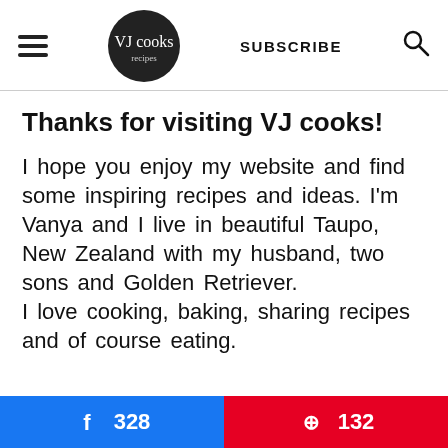VJ cooks | SUBSCRIBE
Thanks for visiting VJ cooks!
I hope you enjoy my website and find some inspiring recipes and ideas. I'm Vanya and I live in beautiful Taupo, New Zealand with my husband, two sons and Golden Retriever. I love cooking, baking, sharing recipes and of course eating.
Facebook 328
Pinterest 132